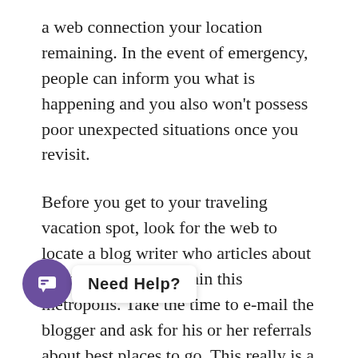a web connection your location remaining. In the event of emergency, people can inform you what is happening and you also won't possess poor unexpected situations once you revisit.
Before you get to your traveling vacation spot, look for the web to locate a blog writer who articles about what's happening within this metropolis. Take the time to e-mail the blogger and ask for his or her referrals about best places to go. This really is a great way to get the inside scoop on your vacation place.
When you are traveling road-getaway fashion and you have an intelligent phone, try out downloading apps such as GasBuddy to help you lookup what service stations have the cheapest prices before you are getting into city. Paying 10-11 cents much more per gallon can amount to a great deal of extra money that you might be spending elsewhere.